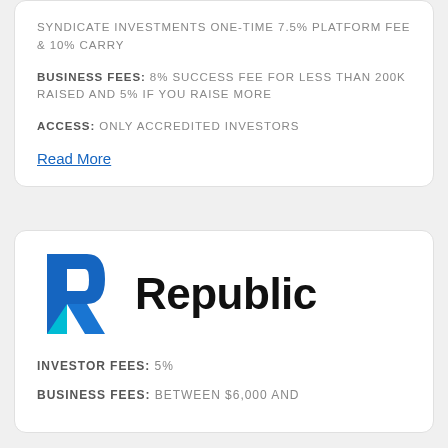SYNDICATE INVESTMENTS ONE-TIME 7.5% PLATFORM FEE & 10% CARRY
BUSINESS FEES: 8% SUCCESS FEE FOR LESS THAN 200K RAISED AND 5% IF YOU RAISE MORE
ACCESS: ONLY ACCREDITED INVESTORS
Read More
[Figure (logo): Republic logo: blue stylized R icon with teal triangle accent, followed by 'Republic' wordmark in bold black sans-serif]
INVESTOR FEES: 5%
BUSINESS FEES: BETWEEN $6,000 AND